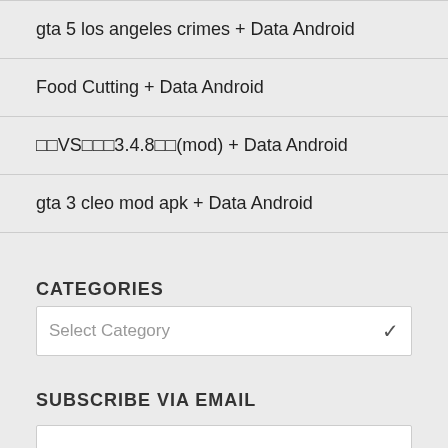gta 5 los angeles crimes + Data Android
Food Cutting + Data Android
□□VS□□□3.4.8□□(mod) + Data Android
gta 3 cleo mod apk + Data Android
CATEGORIES
Select Category
SUBSCRIBE VIA EMAIL
Enter your email address, Receive notifications of new Top Games: